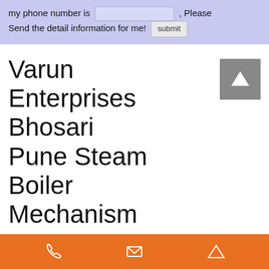my phone number is [input field] , Please Send the detail information for me! submit
Varun Enterprises Bhosari Pune Steam Boiler Mechanism
[Figure (photo): Industrial boiler room with green pipes and yellow ducts running along the ceiling of a large factory building, with a large blue cylindrical steam boiler visible in the foreground. A 'Chat online' overlay widget is in the bottom-left corner.]
Phone | Email | Up (icons on orange bar)